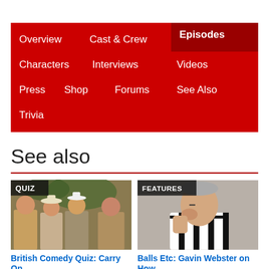Overview
Cast & Crew
Episodes
Characters
Interviews
Videos
Press
Shop
Forums
See Also
Trivia
See also
[Figure (photo): Quiz card image showing British comedy Carry On cast members in costumes outdoors]
British Comedy Quiz: Carry On
[Figure (photo): Features card image showing Gavin Webster, a man in black and white striped shirt holding his hand to his face]
Balls Etc: Gavin Webster on How